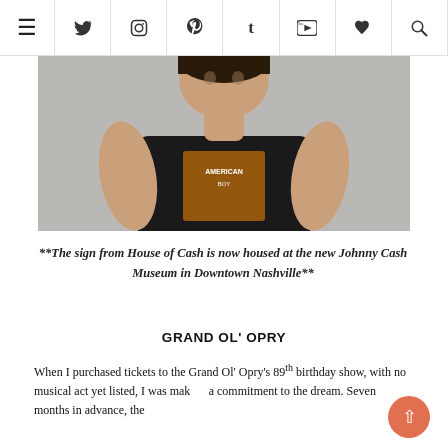Navigation bar with hamburger menu and social icons: Twitter, Instagram, Pinterest, Tumblr, YouTube, Heart, Search
[Figure (photo): A person wearing a dark t-shirt with a graphic print, photographed from torso up against a light gray wall background.]
**The sign from House of Cash is now housed at the new Johnny Cash Museum in Downtown Nashville**
GRAND OL' OPRY
When I purchased tickets to the Grand Ol' Opry's 89th birthday show, with no musical act yet listed, I was making a commitment to the dream. Seven months in advance, the